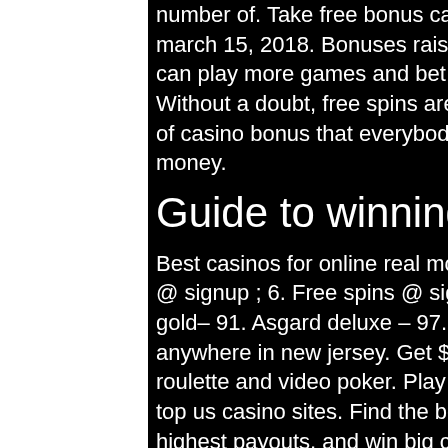number of. Take free bonus casinos to play $101 to $500 on march 15, 2018. Bonuses raise casino funds, which means you can play more games and bet more on every game you play. Without a doubt, free spins are one of the most popular forms of casino bonus that everybody loves, real online slots real money.
Guide to winning slot machines
Best casinos for online real money slots ; 4. $0 ; 5. Free chips @ signup ; 6. Free spins @ signup ; 7. Jackpot cleopatra's gold– 91. Asgard deluxe – 97. Explore our online casino games anywhere in new jersey. Get $10 free to play slots, blackjack, roulette and video poker. Play slots online for real money at the top us casino sites. Find the best online slot games with the highest payouts, and win big cash prizes! Best casinos with real money slots in michigan ; 2. $2,000...